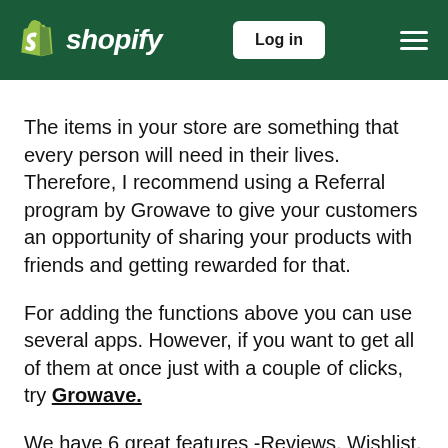Shopify — Log in
The items in your store are something that every person will need in their lives. Therefore, I recommend using a Referral program by Growave to give your customers an opportunity of sharing your products with friends and getting rewarded for that. For adding the functions above you can use several apps. However, if you want to get all of them at once just with a couple of clicks, try Growave. We have 6 great features -Reviews, Wishlist, Rewards, Social Login, Instagram, Discounts, etc. There is a free plan available.  Hopefully, I managed to help you. If so, please let me know by liking this post.